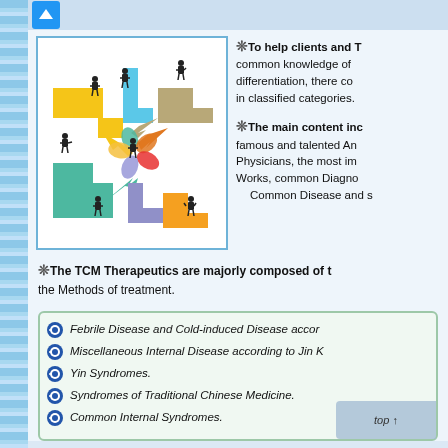[Figure (infographic): Colorful flowchart/network diagram showing interconnected arrows (yellow, teal, blue, purple, orange, tan) with person silhouette icons at various nodes, representing pathways or relationships in TCM context]
❊To help clients and T... common knowledge of differentiation, there co... in classified categories.
❊The main content inc... famous and talented An... Physicians, the most im... Works, common Diagno... Common Disease and s...
❊The TCM Therapeutics are majorly composed of t... the Methods of treatment.
Febrile Disease and Cold-induced Disease accor...
Miscellaneous Internal Disease according to Jin K...
Yin Syndromes.
Syndromes of Traditional Chinese Medicine.
Common Internal Syndromes.